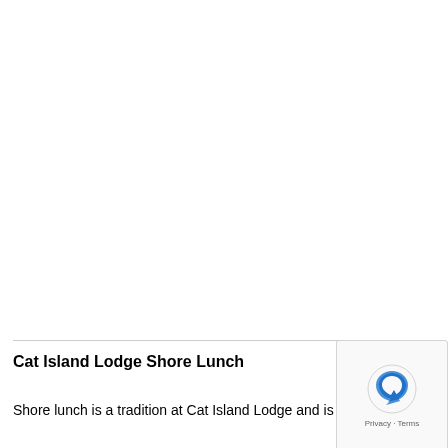Cat Island Lodge Shore Lunch
Shore lunch is a tradition at Cat Island Lodge and is included